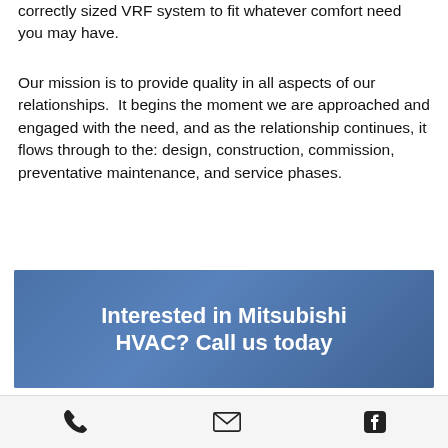correctly sized VRF system to fit whatever comfort need you may have.
Our mission is to provide quality in all aspects of our relationships.  It begins the moment we are approached and engaged with the need, and as the relationship continues, it flows through to the: design, construction, commission, preventative maintenance, and service phases.
[Figure (photo): Blue-tinted banner with bold white text reading 'Interested in Mitsubishi HVAC? Call us today']
The benefits of a Rock Valley
Phone | Email | Facebook icons